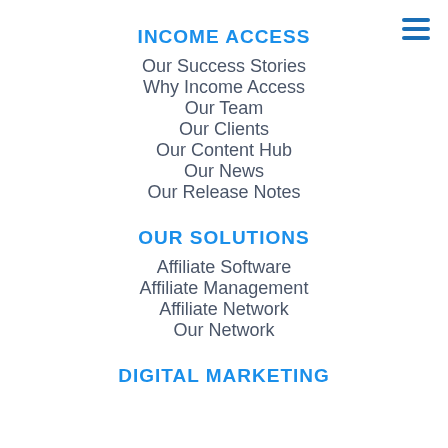INCOME ACCESS
Our Success Stories
Why Income Access
Our Team
Our Clients
Our Content Hub
Our News
Our Release Notes
OUR SOLUTIONS
Affiliate Software
Affiliate Management
Affiliate Network
Our Network
DIGITAL MARKETING